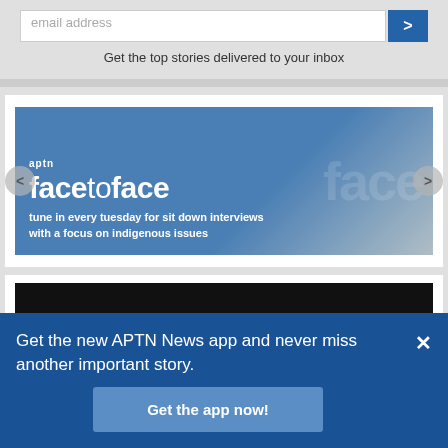email address
Get the top stories delivered to your inbox
[Figure (screenshot): APTN facetoface promotional banner - blue background with 'aptn facetoface' logo and text 'tune in every tuesday for sit down interviews with a focus on indigenous issues']
[Figure (screenshot): Dark/black video preview area at bottom of page]
Get the new APTN News app and never miss another important story.
Get the app now!